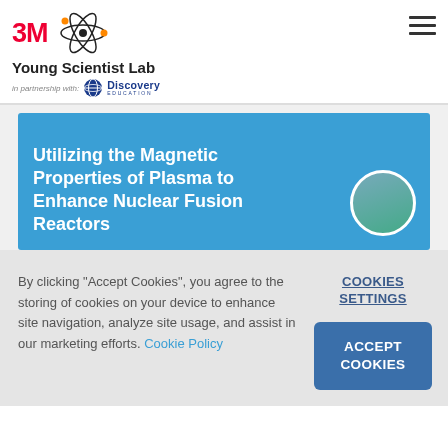3M Young Scientist Lab in partnership with: Discovery Education
Utilizing the Magnetic Properties of Plasma to Enhance Nuclear Fusion Reactors
By clicking "Accept Cookies", you agree to the storing of cookies on your device to enhance site navigation, analyze site usage, and assist in our marketing efforts. Cookie Policy
COOKIES SETTINGS
ACCEPT COOKIES